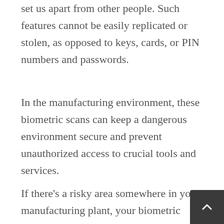set us apart from other people. Such features cannot be easily replicated or stolen, as opposed to keys, cards, or PIN numbers and passwords.
In the manufacturing environment, these biometric scans can keep a dangerous environment secure and prevent unauthorized access to crucial tools and services.
If there's a risky area somewhere in your manufacturing plant, your biometric scanners will ensure that only the people trained and ready to handle